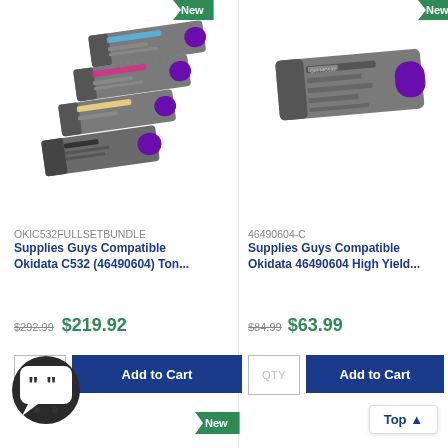[Figure (photo): Four toner cartridges stacked (cyan, magenta, yellow, black) for Okidata C532 bundle]
[Figure (photo): Single gray toner cartridge for Okidata 46490604 High Yield]
OKIC532FULLSETBUNDLE
Supplies Guys Compatible Okidata C532 (46490604) Ton...
46490604-C
Supplies Guys Compatible Okidata 46490604 High Yield...
$292.99  $219.92
$84.99  $63.99